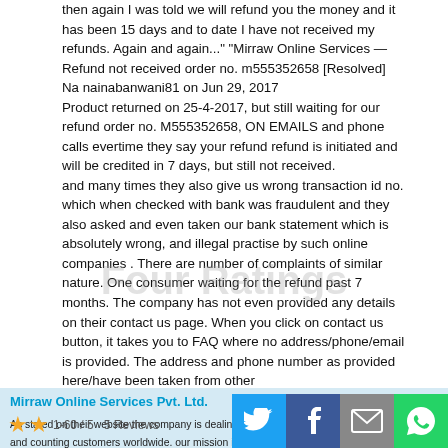then again I was told we will refund you the money and it has been 15 days and to date I have not received my refunds. Again and again..." "Mirraw Online Services — Refund not received order no. m555352658 [Resolved]
Na nainabanwani81 on Jun 29, 2017
Product returned on 25-4-2017, but still waiting for our refund order no. M555352658, ON EMAILS and phone calls evertime they say your refund refund is initiated and will be credited in 7 days, but still not received. and many times they also give us wrong transaction id no. which when checked with bank was fraudulent and they also asked and even taken our bank statement which is absolutely wrong, and illegal practise by such online companies . There are number of complaints of similar nature. One consumer waiting for the refund past 7 months. The company has not even provided any details on their contact us page. When you click on contact us button, it takes you to FAQ where no address/phone/email is provided. The address and phone number as provided here/have been taken from other
Mirraw Online Services Pvt. Ltd.
As stated on their website the company is dealing with over 1 lac listed products, a million and counting customers worldwide. our mission is to bring the world's best ethnic designs to your doorstep. Based out of fort, Mumbai It brings handpicked designs in ethnic Jewellery, Boplets, accessories & more.
Founded by Shailesh Jain & Anup Nair in 2011, our products make our customers look incredible. With a great fan following in India, US & Europe Mirraw is extremely focused on details and wants to stand out as a specialist in contemporary fashion.
Four Ratings
1-60 / 5    5 Reviews